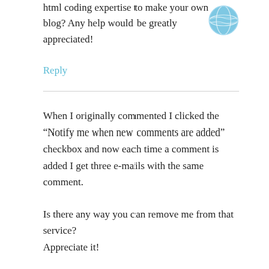html coding expertise to make your own blog? Any help would be greatly appreciated!
[Figure (illustration): Blue globe/world icon]
Reply
When I originally commented I clicked the “Notify me when new comments are added” checkbox and now each time a comment is added I get three e-mails with the same comment.

Is there any way you can remove me from that service?
Appreciate it!